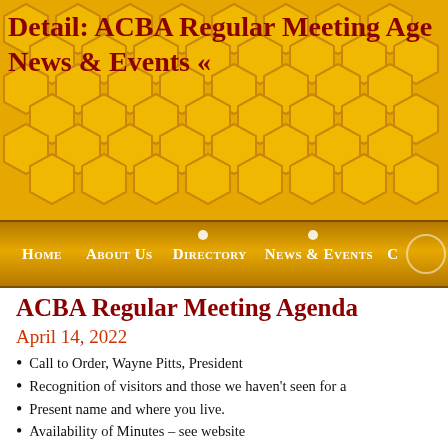Detail: ACBA Regular Meeting Agenda
News & Events «
[Figure (screenshot): Navigation bar with honeycomb background and menu items: Home, About Us, Directory, News & Events]
ACBA Regular Meeting Agenda
April 14, 2022
Call to Order, Wayne Pitts, President
Recognition of visitors and those we haven't seen for a
Present name and where you live.
Availability of Minutes – see website